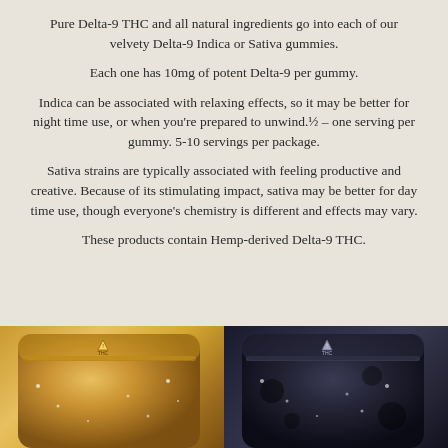Pure Delta-9 THC and all natural ingredients go into each of our velvety Delta-9 Indica or Sativa gummies.
Each one has 10mg of potent Delta-9 per gummy.
Indica can be associated with relaxing effects, so it may be better for night time use, or when you’re prepared to unwind.½ – one serving per gummy. 5-10 servings per package.
Sativa strains are typically associated with feeling productive and creative. Because of its stimulating impact, sativa may be better for day time use, though everyone’s chemistry is different and effects may vary.
These products contain Hemp-derived Delta-9 THC.
[Figure (photo): Two product packages side by side: a golden/amber colored mylar bag on the left and a dark/black mylar bag on the right, both with THC warning labels.]